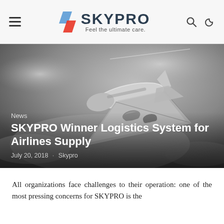SKYPRO — Feel the ultimate care.
[Figure (photo): Black and white photograph of a commercial airplane flying low, shot from below against a cloudy sky. The aircraft is a large jet with multiple engines visible.]
News
SKYPRO Winner Logistics System for Airlines Supply
July 20, 2018 · Skypro
All organizations face challenges to their operation: one of the most pressing concerns for SKYPRO is the